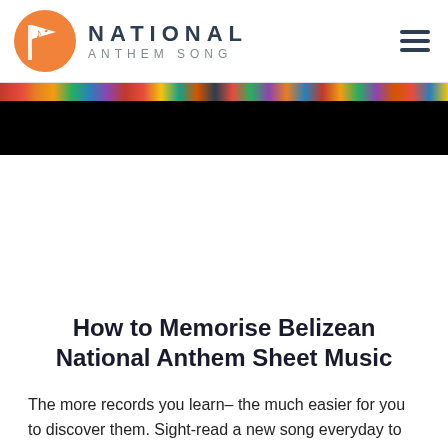NATIONAL ANTHEM SONG
[Figure (photo): Colorful banner image with flags and a black lower section, partially visible at top of page]
How to Memorise Belizean National Anthem Sheet Music
The more records you learn– the much easier for you to discover them. Sight-read a new song everyday to